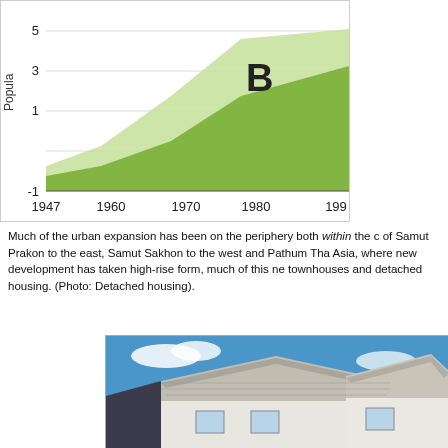[Figure (area-chart): Bangkok Population Growth]
Much of the urban expansion has been on the periphery both within the of Samut Prakon to the east, Samut Sakhon to the west and Pathum Tha Asia, where new development has taken high-rise form, much of this ne townhouses and detached housing. (Photo: Detached housing).
[Figure (photo): Photo of detached housing with tiled roofs against a blue sky with white clouds]